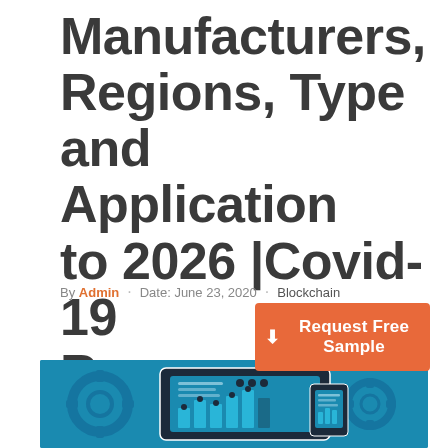Manufacturers, Regions, Type and Application to 2026 |Covid-19 Recovery
By Admin · Date: June 23, 2020 · Blockchain
[Figure (illustration): Orange call-to-action button with download arrow icon reading 'Request Free Sample']
[Figure (illustration): Blue banner image showing a tablet/dashboard with bar charts and a smartphone, with gear icons in the background on a teal/blue background]